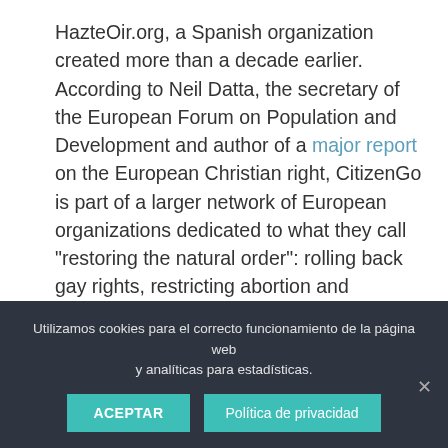HazteOir.org, a Spanish organization created more than a decade earlier. According to Neil Datta, the secretary of the European Forum on Population and Development and author of a major report on the European Christian right, CitizenGo is part of a larger network of European organizations dedicated to what they call “restoring the natural order”: rolling back gay rights, restricting abortion and contraception, promoting an explicitly Christian agenda. They put together mailing lists and keep in touch with their supporters; the organization claims to reach 9 million people.

In this task, they have had international support.
Utilizamos cookies para el correcto funcionamiento de la página web y analíticas para estadísticas.
ACEPTAR
Política de privacidad